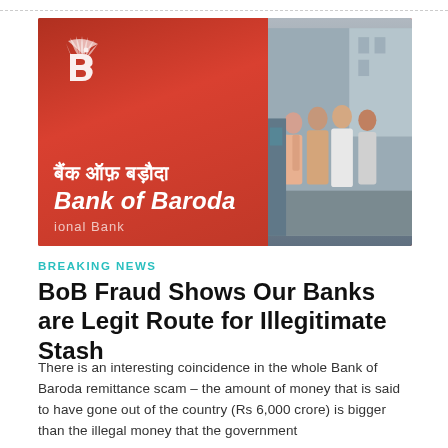[Figure (photo): Bank of Baroda signage showing Hindi text 'बैंक ऑफ़ बड़ौदा' and 'Bank of Baroda' on a red background on the left, and people walking on the street on the right]
BREAKING NEWS
BoB Fraud Shows Our Banks are Legit Route for Illegitimate Stash
There is an interesting coincidence in the whole Bank of Baroda remittance scam – the amount of money that is said to have gone out of the country (Rs 6,000 crore) is bigger than the illegal money that the government